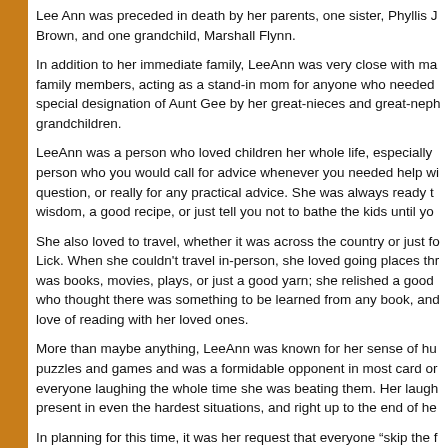Lee Ann was preceded in death by her parents, one sister, Phyllis J Brown, and one grandchild, Marshall Flynn.
In addition to her immediate family, LeeAnn was very close with many family members, acting as a stand-in mom for anyone who needed her special designation of Aunt Gee by her great-nieces and great-nephews grandchildren.
LeeAnn was a person who loved children her whole life, especially being a person who you would call for advice whenever you needed help with a question, or really for any practical advice. She was always ready to share wisdom, a good recipe, or just tell you not to bathe the kids until you...
She also loved to travel, whether it was across the country or just for a Lick. When she couldn't travel in-person, she loved going places through was books, movies, plays, or just a good yarn; she relished a good story who thought there was something to be learned from any book, and shared her love of reading with her loved ones.
More than maybe anything, LeeAnn was known for her sense of humor. She loved puzzles and games and was a formidable opponent in most card or board games, keeping everyone laughing the whole time she was beating them. Her laugh was present in even the hardest situations, and right up to the end of her life.
In planning for this time, it was her request that everyone "skip the formal wake". As such, the family would like to invite family and friends to celebrate memories at a celebration of life gathering on Saturday June 19th, 2021 at Cresthaven Funeral Home in Bedford.